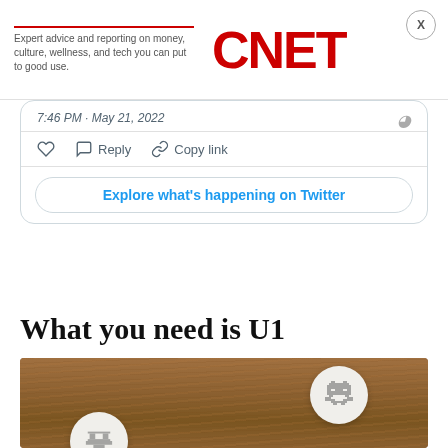Expert advice and reporting on money, culture, wellness, and tech you can put to good use. CNET
7:46 PM · May 21, 2022
♡  Reply  Copy link
Explore what's happening on Twitter
What you need is U1
[Figure (photo): Two white circular Tile tracker devices on a wooden surface. The right tile has a pixel-art alien/robot icon engraved on it. The left tile (partially visible at bottom) has a different icon.]